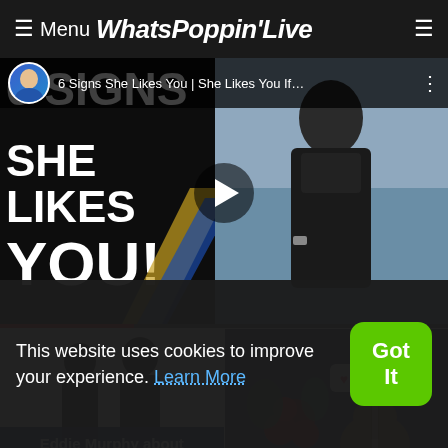≡ Menu WhatsPoppinʼLive
[Figure (screenshot): YouTube video thumbnail showing '6 Signs She Likes You | She Likes You If...' with avatar, play button, and text 'SHE LIKES YOU!' on black background with woman in black dress on right]
[Figure (photo): Silhouette of couple facing each other with caption 'Eddie Murphy about men and woman']
[Figure (photo): Photo of guitar with flowers and heart ornament]
This website uses cookies to improve your experience. Learn More
Got It